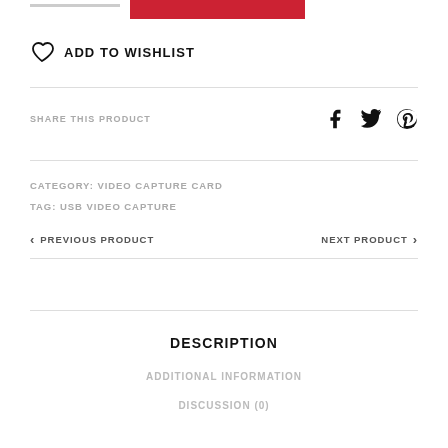ADD TO WISHLIST
SHARE THIS PRODUCT
CATEGORY: VIDEO CAPTURE CARD
TAG: USB VIDEO CAPTURE
PREVIOUS PRODUCT
NEXT PRODUCT
DESCRIPTION
ADDITIONAL INFORMATION
DISCUSSION (0)